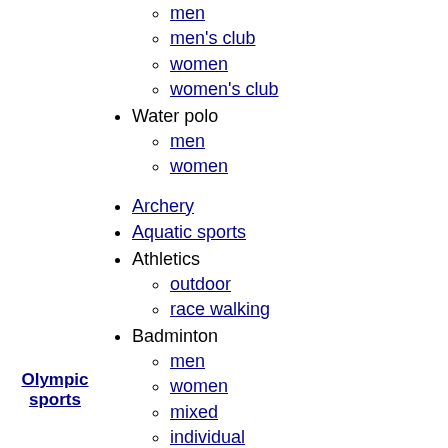men
men's club
women
women's club
Water polo
men
women
Archery
Aquatic sports
Athletics
outdoor
race walking
Badminton
men
women
mixed
individual
Biathlon
Bobsleigh and skeleton
Boxing (amateur)
Canoeing
slalom
sprint
Cycling
Olympic sports